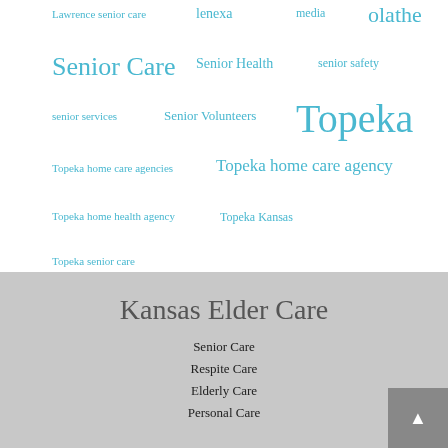[Figure (infographic): Tag cloud with various senior care related keywords in teal/cyan color at varying sizes, on white background. Tags include: Lawrence senior care, lenexa, media, olathe, Senior Care, Senior Health, senior safety, senior services, Senior Volunteers, Topeka, Topeka home care agencies, Topeka home care agency, Topeka home health agency, Topeka Kansas, Topeka senior care]
Kansas Elder Care
Senior Care
Respite Care
Elderly Care
Personal Care